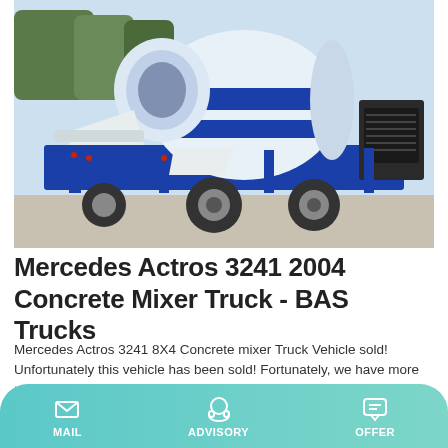[Figure (photo): Photo of a blue and white Mercedes Actros 3241 concrete mixer truck parked outdoors on a concrete surface, with trees visible in the background.]
Mercedes Actros 3241 2004 Concrete Mixer Truck - BAS Trucks
Mercedes Actros 3241 8X4 Concrete mixer Truck Vehicle sold! Unfortunately this vehicle has been sold! Fortunately, we have more than 1.500 vehicles in stock and refresh our stock with at least 100 units each week. Please check out our similar vehicles that are available.
MAIL | ADVISORY | OFFER